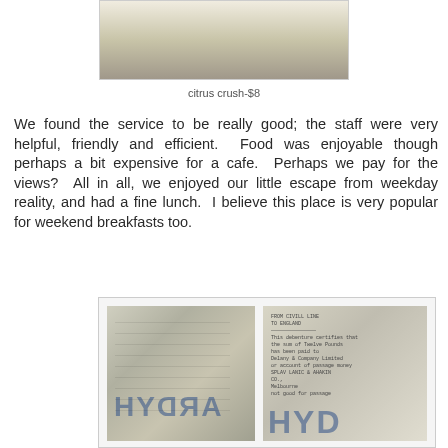[Figure (photo): Photo of a citrus crush drink in a glass, showing a white/yellow frozen or iced beverage from above]
citrus crush-$8
We found the service to be really good; the staff were very helpful, friendly and efficient.  Food was enjoyable though perhaps a bit expensive for a cafe.  Perhaps we pay for the views?  All in all, we enjoyed our little escape from weekday reality, and had a fine lunch.  I believe this place is very popular for weekend breakfasts too.
[Figure (photo): Two photos side by side showing what appears to be an old shipping or travel document/paper with 'HYDRA' text printed on it, one showing the front and one showing text with 'TO ENGLAND' visible]